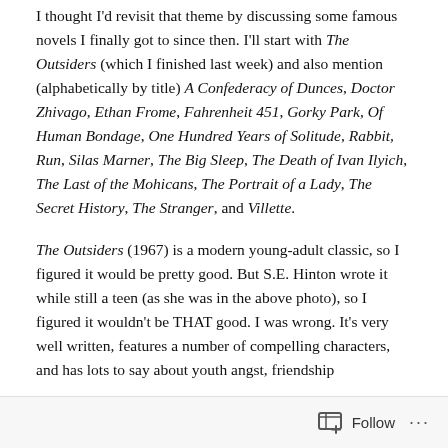I thought I'd revisit that theme by discussing some famous novels I finally got to since then. I'll start with The Outsiders (which I finished last week) and also mention (alphabetically by title) A Confederacy of Dunces, Doctor Zhivago, Ethan Frome, Fahrenheit 451, Gorky Park, Of Human Bondage, One Hundred Years of Solitude, Rabbit, Run, Silas Marner, The Big Sleep, The Death of Ivan Ilyich, The Last of the Mohicans, The Portrait of a Lady, The Secret History, The Stranger, and Villette.
The Outsiders (1967) is a modern young-adult classic, so I figured it would be pretty good. But S.E. Hinton wrote it while still a teen (as she was in the above photo), so I figured it wouldn't be THAT good. I was wrong. It's very well written, features a number of compelling characters, and has lots to say about youth angst, friendship
Follow